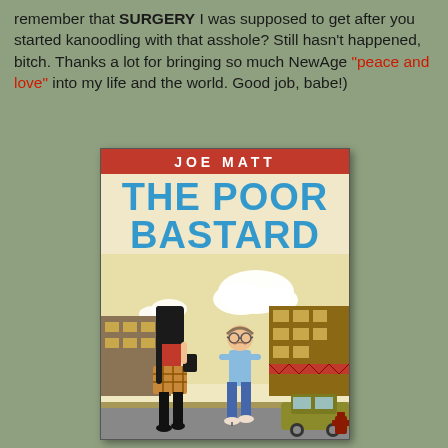remember that SURGERY I was supposed to get after you started kanoodling with that asshole? Still hasn't happened, bitch. Thanks a lot for bringing so much NewAge "peace and love" into my life and the world. Good job, babe!)
[Figure (illustration): Book cover of 'The Poor Bastard' by Joe Matt. Red author bar at top with 'JOE MATT' in white letters. Large blue title text 'THE POOR BASTARD'. Illustration shows a cartoon street scene: a woman with long black hair in a red top and plaid skirt walking ahead, and a bespectacled anxious-looking man in a light blue shirt following behind, set on a city sidewalk with buildings and a car in the background.]